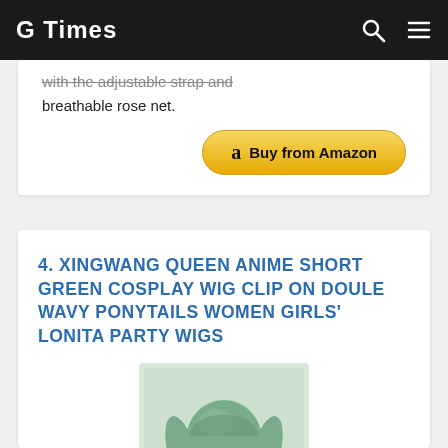G Times
with the adjustable strap and breathable rose net.
[Figure (other): Buy from Amazon button with Amazon logo]
4. XINGWANG QUEEN ANIME SHORT GREEN COSPLAY WIG CLIP ON DOULE WAVY PONYTAILS WOMEN GIRLS' LONITA PARTY WIGS
[Figure (photo): Green anime cosplay wig with double wavy ponytails on a white mannequin head]